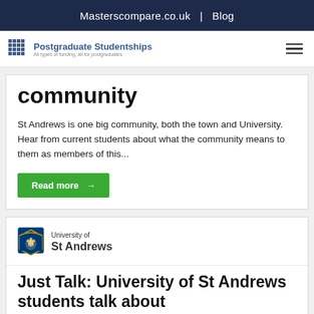Masterscompare.co.uk  |  Blog
[Figure (logo): Postgraduate Studentships logo with grid icon and tagline 'All types of funding, all for postgraduates']
community
St Andrews is one big community, both the town and University. Hear from current students about what the community means to them as members of this...
Read more →
[Figure (logo): University of St Andrews shield logo with text 'University of St Andrews']
Just Talk: University of St Andrews students talk about